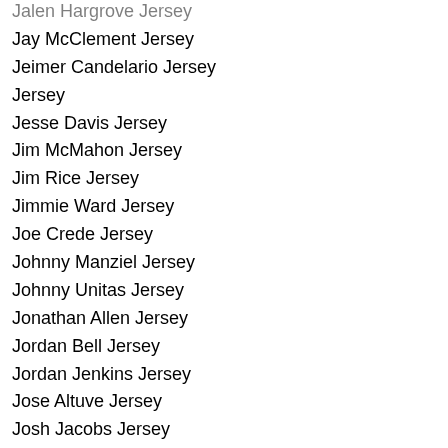Jalen Hargrove Jersey
Jay McClement Jersey
Jeimer Candelario Jersey
Jersey
Jesse Davis Jersey
Jim McMahon Jersey
Jim Rice Jersey
Jimmie Ward Jersey
Joe Crede Jersey
Johnny Manziel Jersey
Johnny Unitas Jersey
Jonathan Allen Jersey
Jordan Bell Jersey
Jordan Jenkins Jersey
Jose Altuve Jersey
Josh Jacobs Jersey
Josh Jones Jersey
Josh Oliver Jersey
Julius Erving Jersey